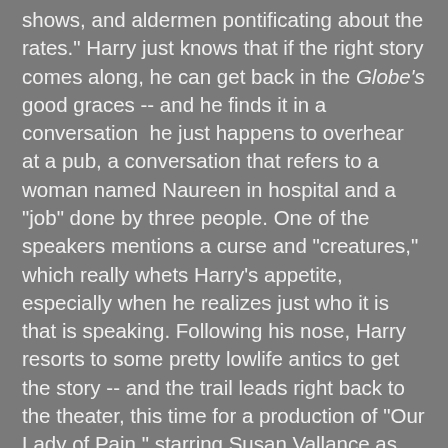shows, and aldermen pontificating about the rates." Harry just knows that if the right story comes along, he can get back in the Globe's good graces -- and he finds it in a conversation he just happens to overhear at a pub, a conversation that refers to a woman named Naureen in hospital and a "job" done by three people. One of the speakers mentions a curse and "creatures," which really whets Harry's appetite, especially when he realizes just who it is that is speaking. Following his nose, Harry resorts to some pretty lowlife antics to get the story -- and the trail leads right back to the theater, this time for a production of "Our Lady of Pain," starring Susan Vallance as the countess Elizabeth Bathory. Harry's attempts at following the path of this cryptic conversation constitutes a large part of this book and leads him on a crazy ride, but even he knows that there's much, much more to this story than quite literally meets the eye.
Blackburn gets very clever in this novel. Not only does he bring in and add his own versions of the old legends of Elizabeth Bathory, but he also contributes into the mix a unique form of punishment (perhaps even justice) suffered